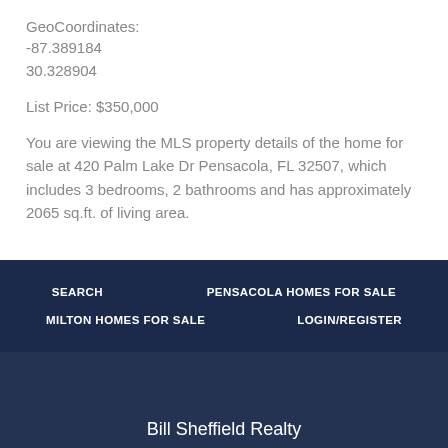GeoCoordinates:
-87.389184
30.328904
List Price: $350,000
You are viewing the MLS property details of the home for sale at 420 Palm Lake Dr Pensacola, FL 32507, which includes 3 bedrooms, 2 bathrooms and has approximately 2065 sq.ft. of living area.
SEARCH | PENSACOLA HOMES FOR SALE | MILTON HOMES FOR SALE | LOGIN/REGISTER
Bill Sheffield Realty